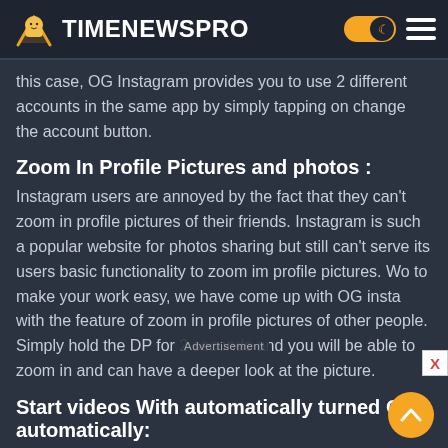TIMENEWSPRO
this case, OG Instagram provides you to use 2 different accounts in the same app by simply tapping on change the account button.
Zoom In Profile Pictures and photos :
Instagram users are annoyed by the fact that they can't zoom in profile pictures of their friends. Instagram is such a popular website for photos sharing but still can't serve its users basic functionality to zoom im profile pictures. Wo to make your work easy, we have come up with OG insta with the feature of zoom in profile pictures of other people. Simply hold the DP for 2 seconds and you will be able to zoom in and can have a deeper look at the picture.
Start videos With automatically turned ON automatically: